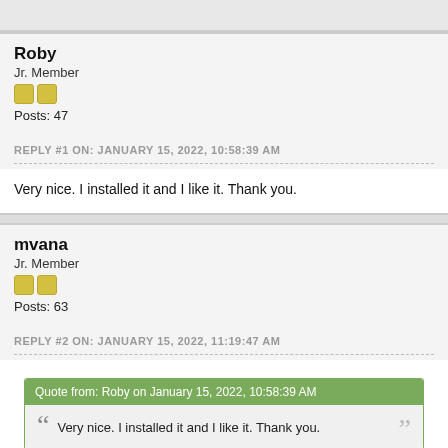Roby
Jr. Member
Posts: 47
REPLY #1 ON: JANUARY 15, 2022, 10:58:39 AM
Very nice. I installed it and I like it. Thank you.
mvana
Jr. Member
Posts: 63
REPLY #2 ON: JANUARY 15, 2022, 11:19:47 AM
Quote from: Roby on January 15, 2022, 10:58:39 AM
Very nice. I installed it and I like it. Thank you.